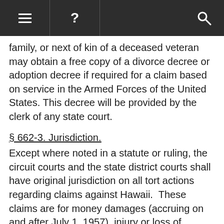≡ ? 🔍
family, or next of kin of a deceased veteran may obtain a free copy of a divorce decree or adoption decree if required for a claim based on service in the Armed Forces of the United States. This decree will be provided by the clerk of any state court.
§ 662-3. Jurisdiction.
Except where noted in a statute or ruling, the circuit courts and the state district courts shall have original jurisdiction on all tort actions regarding claims against Hawaii.  These claims are for money damages (accruing on and after July 1, 1957), injury or loss of property, personal injury, or death caused by the negligent or wrongful act or omission of an employee of the state of Hawaii while acting within the scope of his office or employment.